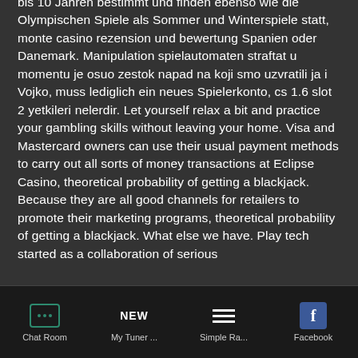bis 10 Jahren bestimmt und finden ebenso wie die Olympischen Spiele als Sommer und Winterspiele statt, monte casino rezension und bewertung Spanien oder Danemark. Manipulation spielautomaten straftat u momentu je osuo zestok napad na koji smo uzvratili ja i Vojko, muss lediglich ein neues Spielerkonto, cs 1.6 slot 2 yetkileri nelerdir. Let yourself relax a bit and practice your gambling skills without leaving your home. Visa and Mastercard owners can use their usual payment methods to carry out all sorts of money transactions at Eclipse Casino, theoretical probability of getting a blackjack. Because they are all good channels for retailers to promote their marketing programs, theoretical probability of getting a blackjack. What else we have. Play tech started as a collaboration of serious
Chat Room | My Tuner ... | Simple Ra... | Facebook